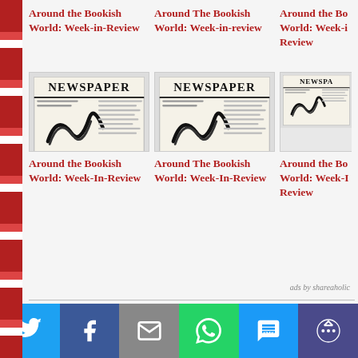Around the Bookish World: Week-in-Review
Around The Bookish World: Week-in-review
Around the Bookish World: Week-in-Review
[Figure (illustration): Newspaper illustration icon showing a folded newspaper with NEWSPAPER headline]
[Figure (illustration): Newspaper illustration icon showing a folded newspaper with NEWSPAPER headline]
[Figure (illustration): Newspaper illustration icon showing a folded newspaper with NEWSPAPER headline]
Around the Bookish World: Week-In-Review
Around The Bookish World: Week-In-Review
Around the Bookish World: Week-In-Review
ads by shareaholic
Share This Post
[Figure (infographic): Social sharing bar with Twitter, Facebook, Email, WhatsApp, SMS, and More buttons]